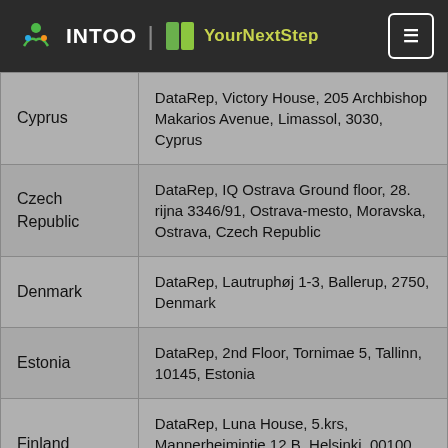INTOO | YourNextStep
| Country | Address |
| --- | --- |
| Cyprus | DataRep, Victory House, 205 Archbishop Makarios Avenue, Limassol, 3030, Cyprus |
| Czech Republic | DataRep, IQ Ostrava Ground floor, 28. rijna 3346/91, Ostrava-mesto, Moravska, Ostrava, Czech Republic |
| Denmark | DataRep, Lautruphøj 1-3, Ballerup, 2750, Denmark |
| Estonia | DataRep, 2nd Floor, Tornimae 5, Tallinn, 10145, Estonia |
| Finland | DataRep, Luna House, 5.krs, Mannerheimintie 12 B, Helsinki, 00100, Finland |
| France | DataRep, 72 rue de Lessard, Rouen, |